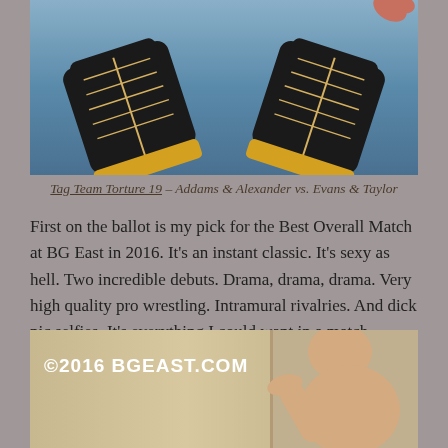[Figure (photo): Photo of wrestling boots from below, with blue mat visible in background]
Tag Team Torture 19 – Addams & Alexander vs. Evans & Taylor
First on the ballot is my pick for the Best Overall Match at BG East in 2016. It's an instant classic. It's sexy as hell. Two incredible debuts. Drama, drama, drama. Very high quality pro wrestling. Intramural rivalries. And dick pic selfies. It's everything I could want in a match (except for a copy of those dick pics).
[Figure (photo): Photo with ©2016 BGEAST.COM watermark, showing a wrestler]